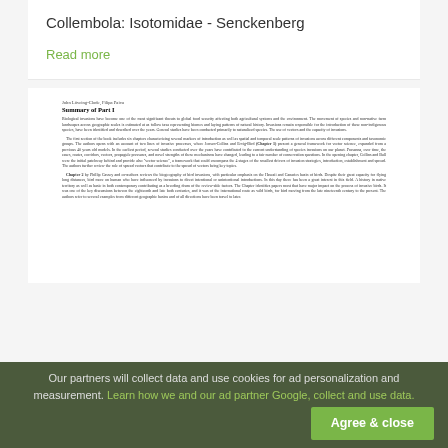Collembola: Isotomidae - Senckenberg
Read more
[Figure (screenshot): Scanned document page preview showing authors John Löveing-Clode, Filipa Paiva and the heading 'Summary of Part I' followed by several paragraphs of scientific text about biological invasions, species introductions, and chapters covering biogeography and spread of invasive birds.]
Our partners will collect data and use cookies for ad personalization and measurement. Learn how we and our ad partner Google, collect and use data. Agree & close